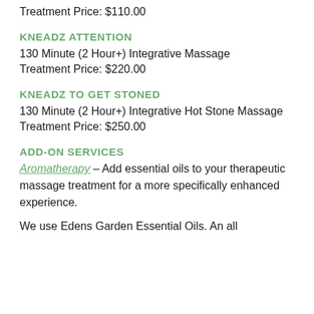Treatment Price: $110.00
KNEADZ ATTENTION
130 Minute (2 Hour+) Integrative Massage
Treatment Price: $220.00
KNEADZ TO GET STONED
130 Minute (2 Hour+) Integrative Hot Stone Massage
Treatment Price: $250.00
ADD-ON SERVICES
Aromatherapy – Add essential oils to your therapeutic massage treatment for a more specifically enhanced experience.
We use Edens Garden Essential Oils. An all